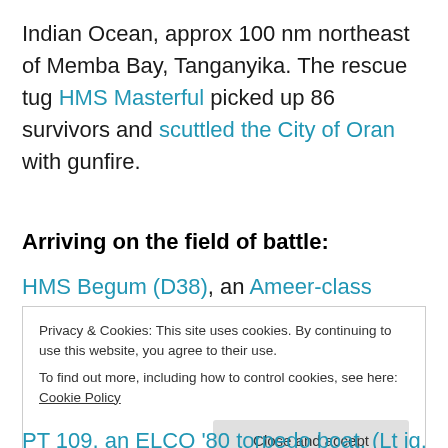Indian Ocean, approx 100 nm northeast of Memba Bay, Tanganyika. The rescue tug HMS Masterful picked up 86 survivors and scuttled the City of Oran with gunfire.
Arriving on the field of battle:
HMS Begum (D38), an Ameer-class escort carrier, formerly the USS Bolinas (CVE-36), was commissioned
Privacy & Cookies: This site uses cookies. By continuing to use this website, you agree to their use.
To find out more, including how to control cookies, see here: Cookie Policy
[Close and accept]
PT 109, an ELCO '80 torpedo boat, (Lt jg. John Fitzgerald